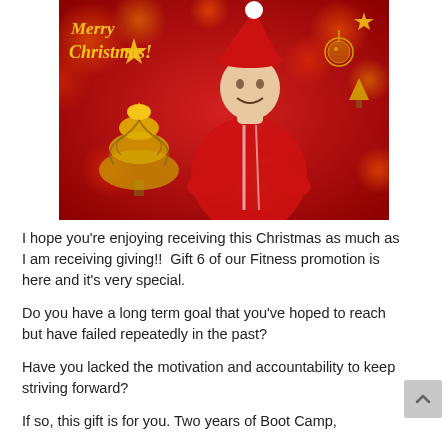[Figure (photo): A man in a red athletic shirt and Santa hat with arms crossed, smiling, against a red bokeh background with a gold decorative Christmas tree and ornaments. Text reads 'Merry Christmas!' in gold cursive at top left.]
I hope you're enjoying receiving this Christmas as much as I am receiving giving!!  Gift 6 of our Fitness promotion is here and it's very special.
Do you have a long term goal that you've hoped to reach but have failed repeatedly in the past?
Have you lacked the motivation and accountability to keep striving forward?
If so, this gift is for you. Two years of Boot Camp,